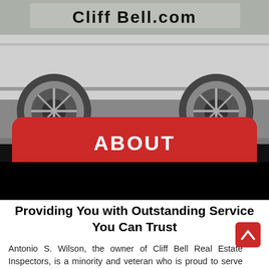[Figure (photo): A white vehicle with 'Cliff Bell' text on the side, photographed from the side showing wheels and pavement below]
ABOUT
Providing You with Outstanding Service You Can Trust
Antonio S. Wilson, the owner of Cliff Bell Real Estate Inspectors, is a minority and veteran who is proud to serve in the inspections industry. He grew up on Houston's south